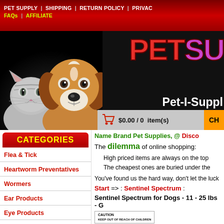PET SUPPLY | SHIPPING | RETURN POLICY | PRIVACY | FAQs | AFFILIATE
[Figure (photo): Hero banner with a beagle dog and tabby cat on black background, with PET SUPPLY logo text in red and purple, and subtitle Pet-I-Supply]
$0.00 / 0  item(s)
CATEGORIES
Flea & Tick
Heartworm Preventatives
Wormers
Ear Products
Eye Products
Arthritis Help
Shampoo/Conditioners
Dental Toys
Name Brand Pet Supplies, @ Discount Prices
The dilemma of online shopping:
High priced items are always on the top. The cheapest ones are buried under the...
You've found us the hard way, don't let the luck...
Start => : Sentinel Spectrum :
Sentinel Spectrum for Dogs - 11 - 25 lbs - G...